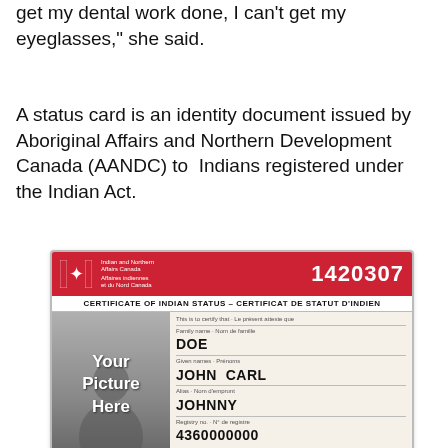get my dental work done, I can't get my eyeglasses," she said.
A status card is an identity document issued by Aboriginal Affairs and Northern Development Canada (AANDC) to  Indians registered under the Indian Act.
[Figure (photo): Sample Certificate of Indian Status card issued by Indian and Northern Affairs Canada, number 1420307. Shows placeholder silhouette photo area with text 'Your Picture Here'. Fields show: Family name: DOE, Given names: JOHN CARL, Alias: JOHNNY, Registry no.: 4360000000. Footer states the cardholder is an Indian within the meaning of the Indian Act, chapter 27, Statutes of Canada (1985).]